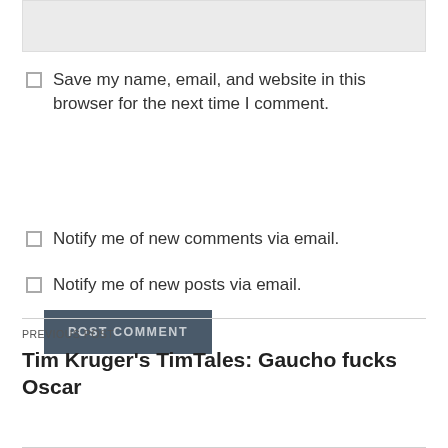[Figure (other): Gray input/text area box (website field)]
Save my name, email, and website in this browser for the next time I comment.
POST COMMENT
Notify me of new comments via email.
Notify me of new posts via email.
PREVIOUS POST
Tim Kruger's TimTales: Gaucho fucks Oscar